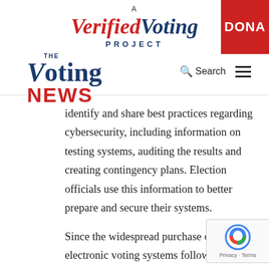[Figure (logo): A Verified Voting Project logo with red italic 'Verified' and dark blue italic 'Voting' text, 'PROJECT' in dark blue caps below, and red 'DONA' button partially visible at right]
[Figure (logo): The Voting NEWS logo: 'THE' small text, 'Voting' in large dark blue with italic V, 'NEWS' in large red bold sans-serif]
identify and share best practices regarding cybersecurity, including information on testing systems, auditing the results and creating contingency plans. Election officials use this information to better prepare and secure their systems.
Since the widespread purchase of electronic voting systems following the 2000 election, officials have worked to adapt their laws,